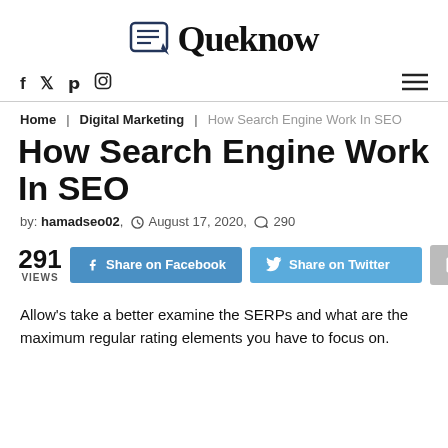Queknow
f  ɥ  p  O  ≡
Home  Digital Marketing  How Search Engine Work In SEO
How Search Engine Work In SEO
by: hamadseo02,  August 17, 2020,  290
291 VIEWS  Share on Facebook  Share on Twitter
Allow's take a better examine the SERPs and what are the maximum regular rating elements you have to focus on.